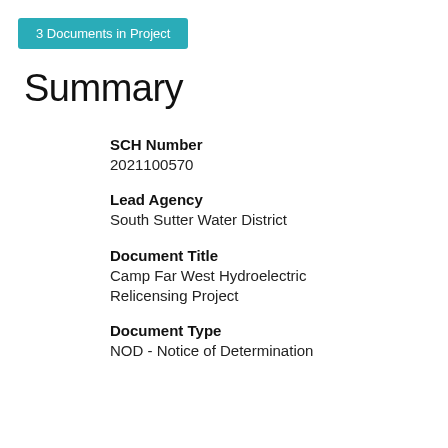3 Documents in Project
Summary
SCH Number
2021100570
Lead Agency
South Sutter Water District
Document Title
Camp Far West Hydroelectric Relicensing Project
Document Type
NOD - Notice of Determination